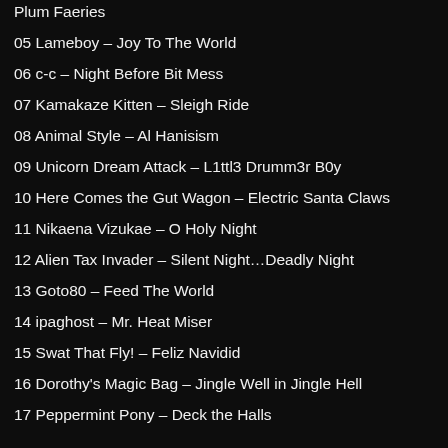Plum Faeries
05 Lameboy – Joy To The World
06 c-c – Night Before Bit Mess
07 Kamakaze Kitten – Sleigh Ride
08 Animal Style – Al Hanisism
09 Unicorn Dream Attack – L1ttl3 Drumm3r B0y
10 Here Comes the Gut Wagon – Electric Santa Claws
11 Nikaena Vizukae – O Holy Night
12 Alien Tax Invader – Silent Night…Deadly Night
13 Goto80 – Feed The World
14 ipaghost – Mr. Heat Miser
15 Swat That Fly! – Feliz Navidid
16 Dorothy's Magic Bag – Jingle Well in Jingle Hell
17 Peppermint Pony – Deck the Halls